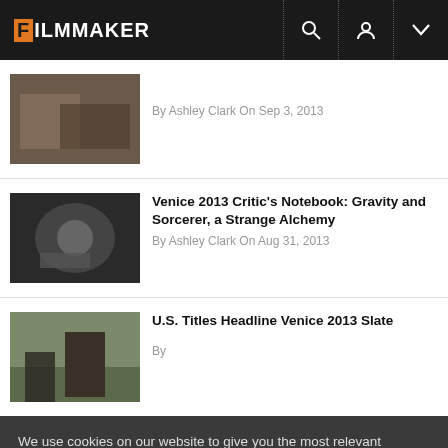FILMMAKER
By Ashley Clark On Sep 3, 2013
Venice 2013 Critic's Notebook: Gravity and Sorcerer, a Strange Alchemy
By Ashley Clark On Aug 31, 2013
U.S. Titles Headline Venice 2013 Slate
By
We use cookies on our website to give you the most relevant experience by remembering your preferences and repeat visits. By clicking "Accept All", you consent to the use of ALL the cookies. However, you may visit "Cookie Settings" to provide a controlled consent.